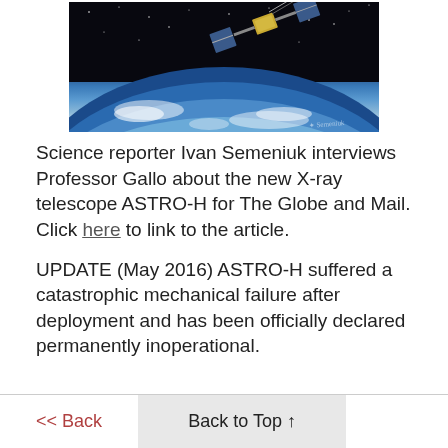[Figure (illustration): Artistic rendering of the ASTRO-H X-ray space telescope satellite in orbit above Earth, with a blue beam or dish extending from the satellite, against a starry black space background with Earth's atmosphere visible below.]
Science reporter Ivan Semeniuk interviews Professor Gallo about the new X-ray telescope ASTRO-H for The Globe and Mail. Click here to link to the article.
UPDATE (May 2016) ASTRO-H suffered a catastrophic mechanical failure after deployment and has been officially declared permanently inoperational.
<< Back
Back to Top ↑